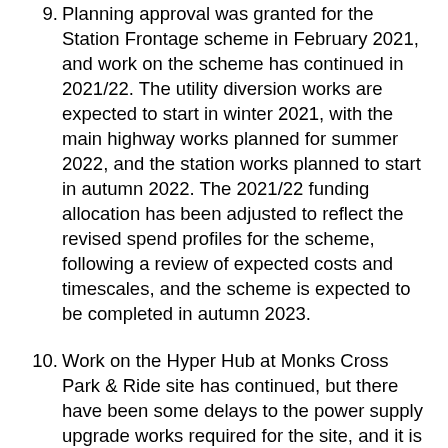9. Planning approval was granted for the Station Frontage scheme in February 2021, and work on the scheme has continued in 2021/22. The utility diversion works are expected to start in winter 2021, with the main highway works planned for summer 2022, and the station works planned to start in autumn 2022. The 2021/22 funding allocation has been adjusted to reflect the revised spend profiles for the scheme, following a review of expected costs and timescales, and the scheme is expected to be completed in autumn 2023.
10. Work on the Hyper Hub at Monks Cross Park & Ride site has continued, but there have been some delays to the power supply upgrade works required for the site, and it is now expected to open in autumn 2021. The construction of the Poppleton Bar site started as planned in April, and the site will open in the autumn. Work is continuing on the proposed